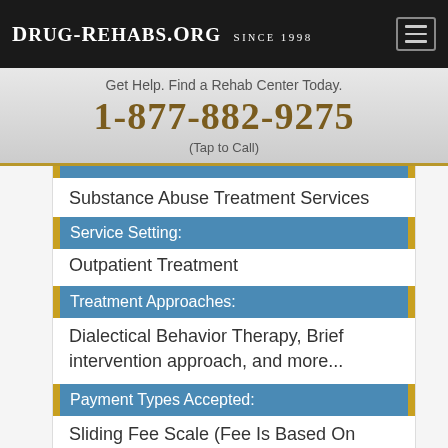Drug-Rehabs.org Since 1998
Get Help. Find a Rehab Center Today.
1-877-882-9275
(Tap to Call)
Substance Abuse Treatment Services
Service Setting:
Outpatient Treatment
Treatment Approaches:
Dialectical Behavior Therapy, Brief intervention approach, and more...
Payment Types Accepted:
Sliding Fee Scale (Fee Is Based On Income) Other Financial Assistance)